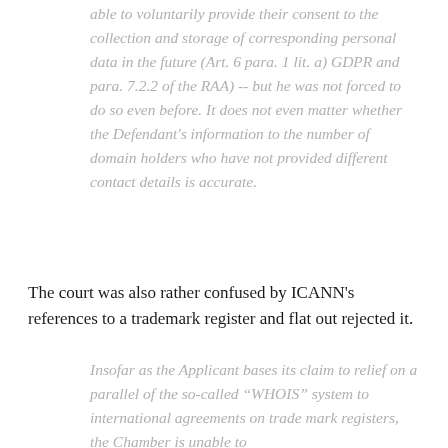able to voluntarily provide their consent to the collection and storage of corresponding personal data in the future (Art. 6 para. 1 lit. a) GDPR and para. 7.2.2 of the RAA) -- but he was not forced to do so even before. It does not even matter whether the Defendant's information to the number of domain holders who have not provided different contact details is accurate.
The court was also rather confused by ICANN's references to a trademark register and flat out rejected it.
Insofar as the Applicant bases its claim to relief on a parallel of the so--called “WHOIS” system to international agreements on trade mark registers, the Chamber is unable to